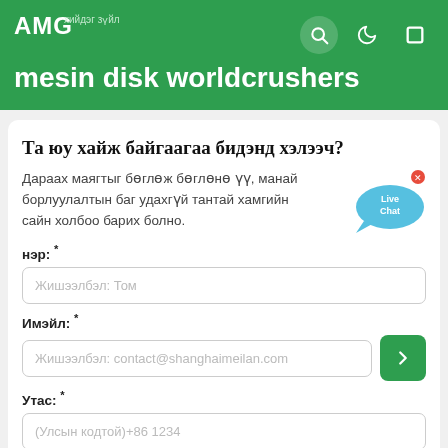AMG mesin disk worldcrushers
Та юу хайж байгаагаа бидэнд хэлээч?
Дараах маягтыг бөглөж бөглөнө үү, манай борлуулалтын баг удахгүй тантай хамгийн сайн холбоо барих болно.
нэр: *
Жишээлбэл: Том
Имэйл: *
Жишээлбэл: contact@shanghaimeilan.com
Утас: *
(Улсын кодтой)+86 1234